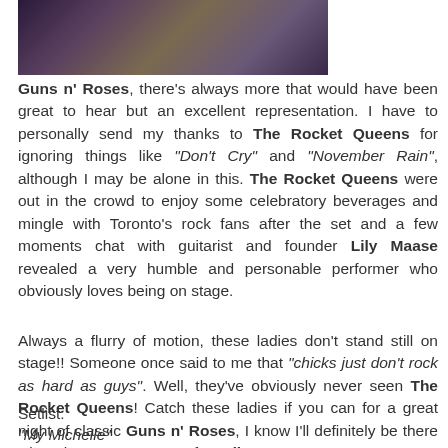[Figure (photo): Concert stage photo showing performers, dark venue with colored lights and a colorful stage floor]
Guns n' Roses, there's always more that would have been great to hear but an excellent representation. I have to personally send my thanks to The Rocket Queens for ignoring things like "Don't Cry" and "November Rain", although I may be alone in this. The Rocket Queens were out in the crowd to enjoy some celebratory beverages and mingle with Toronto's rock fans after the set and a few moments chat with guitarist and founder Lily Maase revealed a very humble and personable performer who obviously loves being on stage.
Always a flurry of motion, these ladies don't stand still on stage!! Someone once said to me that "chicks just don't rock as hard as guys". Well, they've obviously never seen The Rocket Queens! Catch these ladies if you can for a great night of classic Guns n' Roses, I know I'll definitely be there when they return to open for Adler August 21, 2015.
Setlist:
"My Michelle"